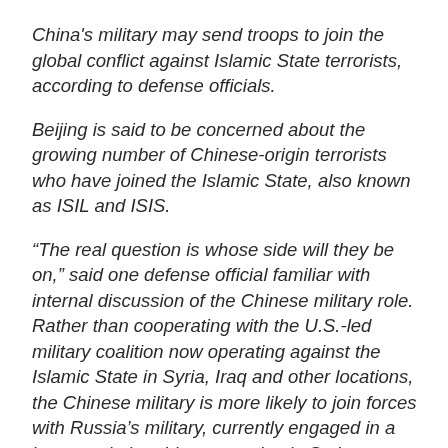China's military may send troops to join the global conflict against Islamic State terrorists, according to defense officials.
Beijing is said to be concerned about the growing number of Chinese-origin terrorists who have joined the Islamic State, also known as ISIL and ISIS.
“The real question is whose side will they be on,” said one defense official familiar with internal discussion of the Chinese military role.
Rather than cooperating with the U.S.-led military coalition now operating against the Islamic State in Syria, Iraq and other locations, the Chinese military is more likely to join forces with Russia’s military, currently engaged in a large-scale bombing campaign in Syria.